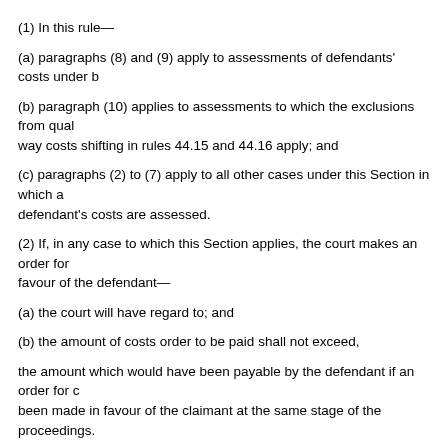(1) In this rule—
(a) paragraphs (8) and (9) apply to assessments of defendants' costs under b
(b) paragraph (10) applies to assessments to which the exclusions from qual way costs shifting in rules 44.15 and 44.16 apply; and
(c) paragraphs (2) to (7) apply to all other cases under this Section in which a defendant's costs are assessed.
(2) If, in any case to which this Section applies, the court makes an order for favour of the defendant—
(a) the court will have regard to; and
(b) the amount of costs order to be paid shall not exceed,
the amount which would have been payable by the defendant if an order for c been made in favour of the claimant at the same stage of the proceedings.
(3) For the purpose of assessing the costs payable to the defendant by refere the fixed costs in Table 6, Table 6A, Table 6B, Table 6C and Table 6D, "value claim for damages" and "damages" shall be treated as references to the value